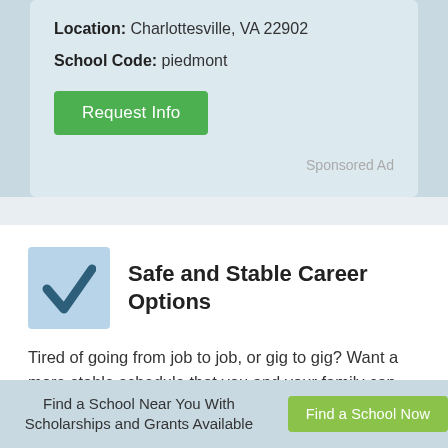Location: Charlottesville, VA 22902
School Code: piedmont
Request Info
Sponsored Ad
Safe and Stable Career Options
Tired of going from job to job, or gig to gig? Want a more stable schedule that you and your family can depend on for consistent working hours? A pharmacy
Find a School Near You With Scholarships and Grants Available
Find a School Now